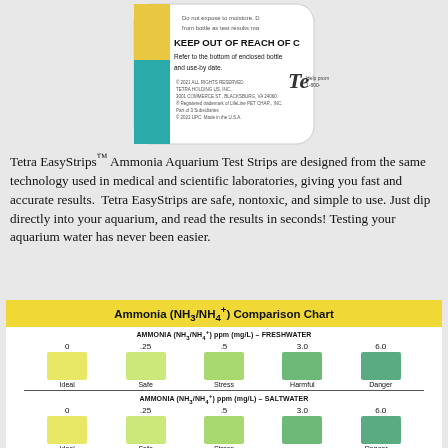[Figure (photo): Top portion of a Tetra EasyStrips bottle showing label text including KEEP OUT OF REACH OF CHILDREN, refer to the bottom of enclosed bottle and use-by date, and Tetra logo]
Tetra EasyStrips™ Ammonia Aquarium Test Strips are designed from the same technology used in medical and scientific laboratories, giving you fast and accurate results. Tetra EasyStrips are safe, nontoxic, and simple to use. Just dip directly into your aquarium, and read the results in seconds! Testing your aquarium water has never been easier.
Ammonia (NH₃/NH₄⁺) Comparison Chart
[Figure (infographic): Ammonia comparison chart with two sections: FRESHWATER and SALTWATER. Each section shows 5 color swatches from yellow to green representing ammonia levels 0, .25, .5, 3.0, 6.0 ppm (mg/L) labeled Ideal, Safe, Stress, Harmful/arrow, Danger/arrow.]